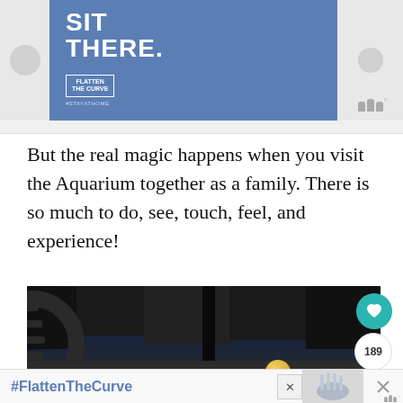[Figure (screenshot): Advertisement banner with blue background showing 'SIT THERE.' in white bold text, with a 'Flatten the Curve' logo and #StayAtHome hashtag below. Followed by a watermark logo in grey.]
But the real magic happens when you visit the Aquarium together as a family. There is so much to do, see, touch, feel, and experience!
[Figure (photo): Interior photo of an aquarium showing dark ceiling with industrial elements, lighting fixtures, and what appears to be marine exhibits. Social interaction buttons (heart/like, count 189, share) visible on the right side.]
[Figure (screenshot): Bottom advertisement bar showing '#FlattenTheCurve' text in blue on white background, with a close (X) button and an image of handwashing.]